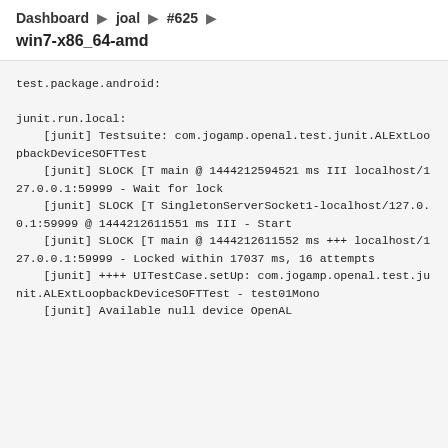Dashboard ▶ joal ▶ #625 ▶
win7-x86_64-amd
test.package.android:

junit.run.local:
    [junit] Testsuite: com.jogamp.openal.test.junit.ALExtLoopbackDeviceSOFTTest
    [junit] SLOCK [T main @ 1444212594521 ms III localhost/127.0.0.1:59999 - Wait for lock
    [junit] SLOCK [T SingletonServerSocket1-localhost/127.0.0.1:59999 @ 1444212611551 ms III - Start
    [junit] SLOCK [T main @ 1444212611552 ms +++ localhost/127.0.0.1:59999 - Locked within 17037 ms, 16 attempts
    [junit] ++++ UITestCase.setUp: com.jogamp.openal.test.junit.ALExtLoopbackDeviceSOFTTest - test01Mono
    [junit] Available null device OpenAL